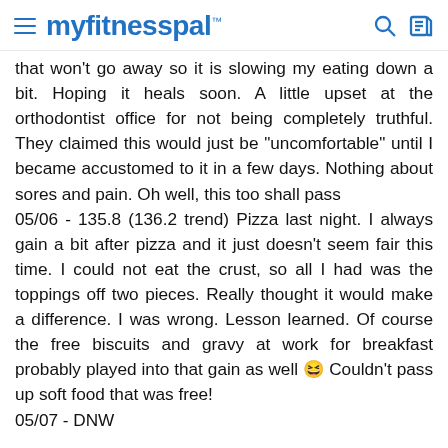myfitnesspal
that won't go away so it is slowing my eating down a bit. Hoping it heals soon. A little upset at the orthodontist office for not being completely truthful. They claimed this would just be "uncomfortable" until I became accustomed to it in a few days. Nothing about sores and pain. Oh well, this too shall pass
05/06 - 135.8 (136.2 trend) Pizza last night. I always gain a bit after pizza and it just doesn't seem fair this time. I could not eat the crust, so all I had was the toppings off two pieces. Really thought it would make a difference. I was wrong. Lesson learned. Of course the free biscuits and gravy at work for breakfast probably played into that gain as well 😆 Couldn't pass up soft food that was free!
05/07 - DNW